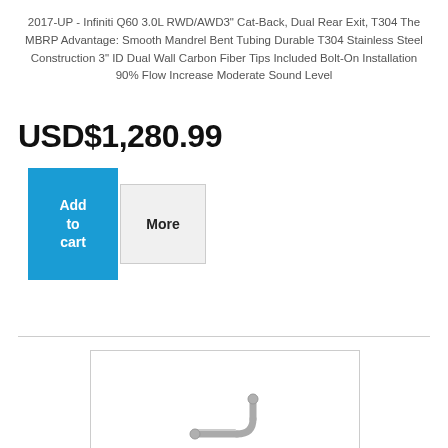2017-UP - Infiniti Q60 3.0L RWD/AWD3" Cat-Back, Dual Rear Exit, T304 The MBRP Advantage: Smooth Mandrel Bent Tubing Durable T304 Stainless Steel Construction 3" ID Dual Wall Carbon Fiber Tips Included Bolt-On Installation 90% Flow Increase Moderate Sound Level
USD$1,280.99
[Figure (screenshot): Add to cart button (blue) and More button (gray) for product purchase]
[Figure (photo): Product photo of MBRP exhaust system showing a curved pipe/tube component against white background]